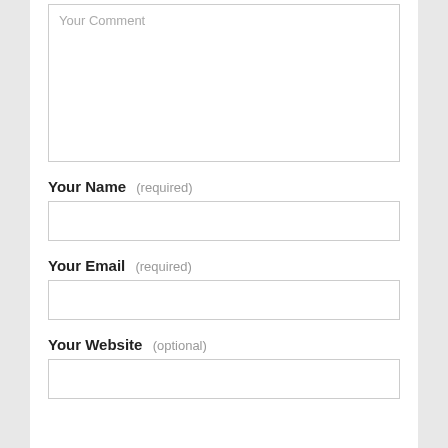Your Comment
Your Name (required)
Your Email (required)
Your Website (optional)